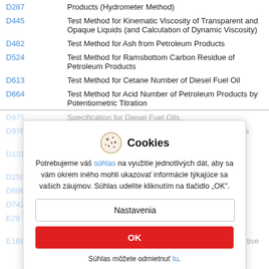D287 — Products (Hydrometer Method)
D445 — Test Method for Kinematic Viscosity of Transparent and Opaque Liquids (and Calculation of Dynamic Viscosity)
D482 — Test Method for Ash from Petroleum Products
D524 — Test Method for Ramsbottom Carbon Residue of Petroleum Products
D613 — Test Method for Cetane Number of Diesel Fuel Oil
D664 — Test Method for Acid Number of Petroleum Products by Potentiometric Titration
D975 — Specification for Diesel Fuel Oils (faded)
D976 — Test Method for Calculated Cetane Index of Distillate Fuels (faded)
D1319 — Test Method for Hydrocarbons ... Liquid Petroleum Products by Fluorescent Indicator Adsorption (faded)
D2500s (faded)
D6864 (faded)
D7420 (faded)
E29 (faded)
E168 (faded)
[Figure (other): Cookie consent overlay dialog in Slovak language with cookie icon, 'Cookies' title, consent text, 'Nastavenia' button, 'OK' red button, and dismiss link.]